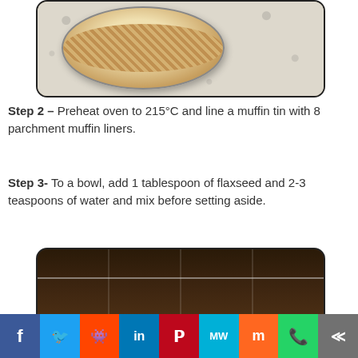[Figure (photo): A glass bowl containing crumbly mixture (likely oat and sugar crumble), sitting on a white surface with water droplet pattern]
Step 2 – Preheat oven to 215°C and line a muffin tin with 8 parchment muffin liners.
Step 3- To a bowl, add 1 tablespoon of flaxseed and 2-3 teaspoons of water and mix before setting aside.
[Figure (photo): Interior of an oven showing the dark chamber with wire rack, with a patterned surface visible at the bottom]
f  Twitter  reddit  in  Pinterest  MW  m  WhatsApp  share